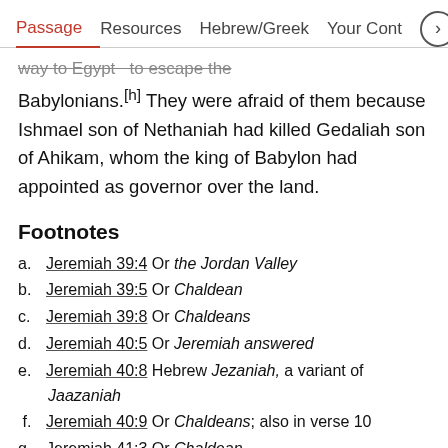Passage  Resources  Hebrew/Greek  Your Cont >
way to Egypt to escape the Babylonians.[h] They were afraid of them because Ishmael son of Nethaniah had killed Gedaliah son of Ahikam, whom the king of Babylon had appointed as governor over the land.
Footnotes
a. Jeremiah 39:4 Or the Jordan Valley
b. Jeremiah 39:5 Or Chaldean
c. Jeremiah 39:8 Or Chaldeans
d. Jeremiah 40:5 Or Jeremiah answered
e. Jeremiah 40:8 Hebrew Jezaniah, a variant of Jaazaniah
f. Jeremiah 40:9 Or Chaldeans; also in verse 10
g. Jeremiah 41:3 Or Chaldean